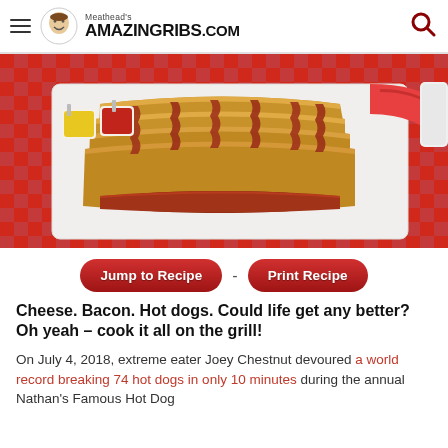Meathead's AmazingRibs.com
[Figure (photo): Multiple bacon-wrapped hot dogs in buns arranged on a white square plate, with small cups of mustard and ketchup in the background, on a red and white checkered tablecloth with watermelon slices visible]
Jump to Recipe - Print Recipe
Cheese. Bacon. Hot dogs. Could life get any better? Oh yeah – cook it all on the grill!
On July 4, 2018, extreme eater Joey Chestnut devoured a world record breaking 74 hot dogs in only 10 minutes during the annual Nathan's Famous Hot Dog